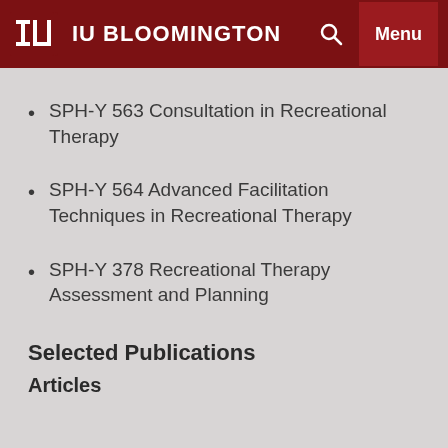IU BLOOMINGTON
SPH-Y 563 Consultation in Recreational Therapy
SPH-Y 564 Advanced Facilitation Techniques in Recreational Therapy
SPH-Y 378 Recreational Therapy Assessment and Planning
Selected Publications
Articles